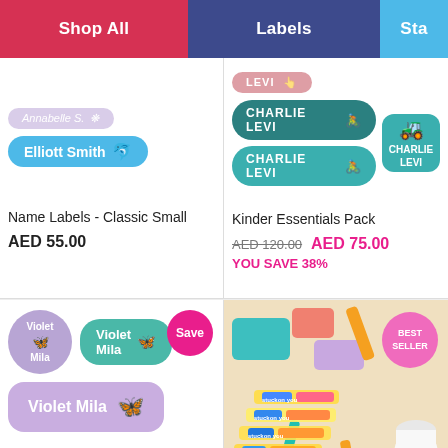Shop All | Labels | Sta...
[Figure (photo): Name Labels Classic Small product preview showing Elliott Smith dolphin label and Annabelle S. lavender label]
Name Labels - Classic Small
AED 55.00
[Figure (photo): Kinder Essentials Pack product preview showing Charlie Levi teal labels with monster truck icon]
Kinder Essentials Pack
AED 120.00  AED 75.00
YOU SAVE 38%
[Figure (photo): Violet Mila name labels showing purple circle label, teal pill label, and lavender rectangular label with butterfly icon. Save badge overlay.]
[Figure (photo): Best Seller sticker sheets product photo showing colorful label sheets with markers and containers on beige background.]